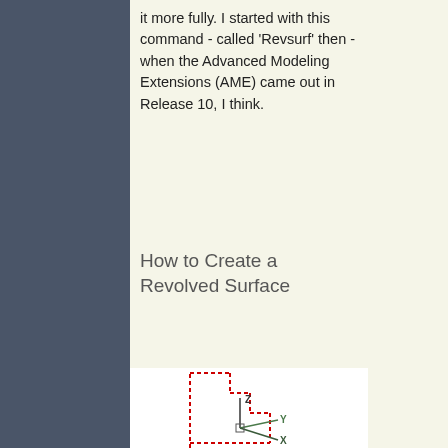it more fully. I started with this command - called 'Revsurf' then - when the Advanced Modeling Extensions (AME) came out in Release 10, I think.
How to Create a Revolved Surface
[Figure (engineering-diagram): A 3D CAD diagram showing a revolved profile shape drawn in red dashed lines, with XYZ coordinate axes shown in green/dark colors at the center-bottom of the profile. The Z axis points up, Y axis points right, and X axis points toward the viewer.]